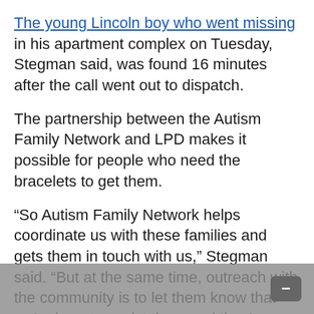The young Lincoln boy who went missing in his apartment complex on Tuesday, Stegman said, was found 16 minutes after the call went out to dispatch.
The partnership between the Autism Family Network and LPD makes it possible for people who need the bracelets to get them.
“So Autism Family Network helps coordinate us with these families and gets them in touch with us,” Stegman said. “But at the same time, outreach with the community is to let them know that we’re here to assist them and they’re here to assist us.”
“We try to all work together as partners because